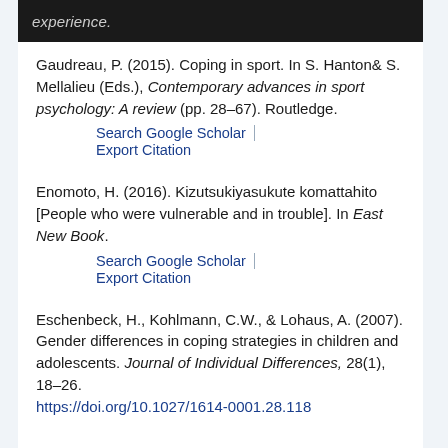Gaudreau, P. (2015). Coping in sport. In S. Hanton& S. Mellalieu (Eds.), Contemporary advances in sport psychology: A review (pp. 28–67). Routledge.
Search Google Scholar | Export Citation
Enomoto, H. (2016). Kizutsukiyasukute komattahito [People who were vulnerable and in trouble]. In East New Book.
Search Google Scholar | Export Citation
Eschenbeck, H., Kohlmann, C.W., & Lohaus, A. (2007). Gender differences in coping strategies in children and adolescents. Journal of Individual Differences, 28(1), 18–26. https://doi.org/10.1027/1614-0001.28.118